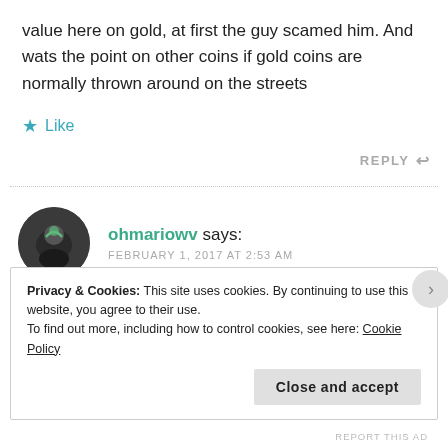value here on gold, at first the guy scamed him. And wats the point on other coins if gold coins are normally thrown around on the streets
★ Like
REPLY ↩
ohmariowv says:
FEBRUARY 1, 2017 AT 2:53 AM
Privacy & Cookies: This site uses cookies. By continuing to use this website, you agree to their use.
To find out more, including how to control cookies, see here: Cookie Policy
Close and accept